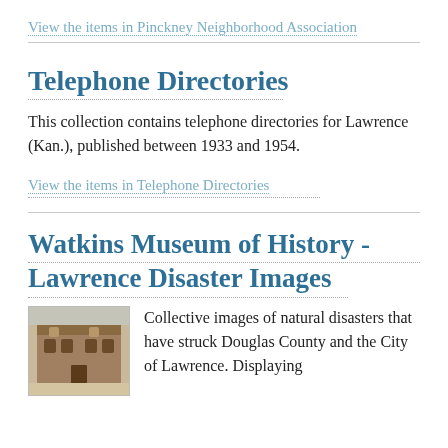View the items in Pinckney Neighborhood Association
Telephone Directories
This collection contains telephone directories for Lawrence (Kan.), published between 1933 and 1954.
View the items in Telephone Directories
Watkins Museum of History - Lawrence Disaster Images
[Figure (photo): Thumbnail photograph of a historic building, sepia-toned.]
Collective images of natural disasters that have struck Douglas County and the City of Lawrence. Displaying